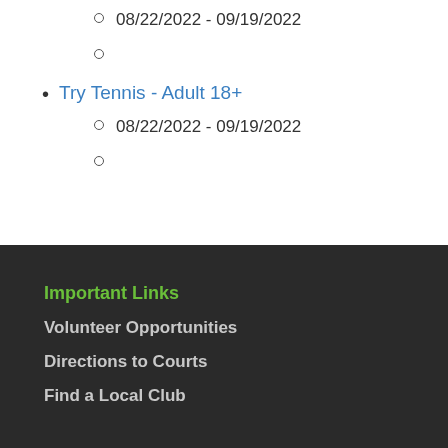08/22/2022 - 09/19/2022
Try Tennis - Adult 18+
08/22/2022 - 09/19/2022
Important Links
Volunteer Opportunities
Directions to Courts
Find a Local Club